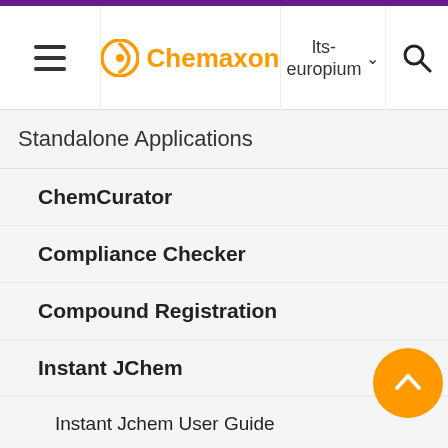Chemaxon | lts-europium
Standalone Applications
ChemCurator
Compliance Checker
Compound Registration
Instant JChem
Instant Jchem User Guide
Getting Started
IJC Projects
IJC Schemas
ado sch By default IJC only sees tables in default